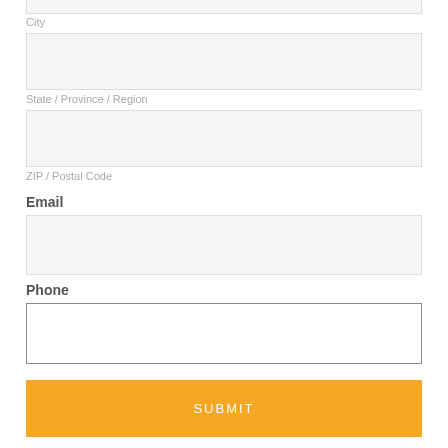[Figure (screenshot): Partial view of a web form with fields: City (partial, top), State/Province/Region, ZIP/Postal Code, Email (bold label), Phone (bold label), and a SUBMIT button in orange.]
City
State / Province / Region
ZIP / Postal Code
Email
Phone
SUBMIT